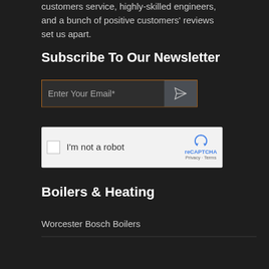customers service, highly-skilled engineers, and a bunch of positive customers' reviews set us apart.
Subscribe To Our Newsletter
[Figure (screenshot): Email subscription input field with orange border and send button (paper plane icon)]
[Figure (screenshot): reCAPTCHA widget with checkbox 'I'm not a robot' and Google reCAPTCHA logo with Privacy and Terms links]
Boilers & Heating
Worcester Bosch Boilers